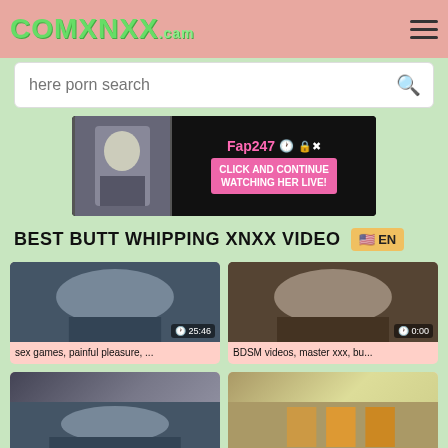COMXNXX.CAM
here porn search
[Figure (photo): Advertisement banner: Fap247 - Click and continue watching her live!]
BEST BUTT WHIPPING XNXX VIDEO
[Figure (photo): Video thumbnail: sex games, painful pleasure - duration 25:46]
sex games, painful pleasure, ...
[Figure (photo): Video thumbnail: BDSM videos, master xxx, bu... - duration 0:00]
BDSM videos, master xxx, bu...
[Figure (photo): Video thumbnail: partially visible, bottom left]
[Figure (photo): Video thumbnail: partially visible, bottom right]